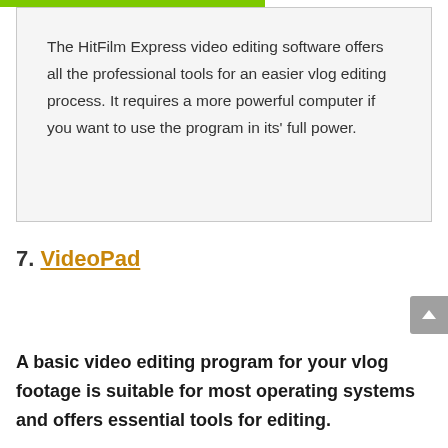The HitFilm Express video editing software offers all the professional tools for an easier vlog editing process. It requires a more powerful computer if you want to use the program in its' full power.
7. VideoPad
A basic video editing program for your vlog footage is suitable for most operating systems and offers essential tools for editing.